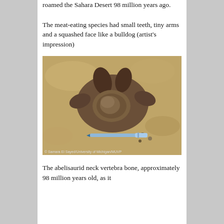roamed the Sahara Desert 98 million years ago.
The meat-eating species had small teeth, tiny arms and a squashed face like a bulldog (artist's impression)
[Figure (photo): Photograph of an abelisaurid neck vertebra bone fossil, approximately 98 million years old, placed on sandy/rocky ground with a blue pen for scale. Photo credit: © Samara El Sayed/University of Michigan/MUVP]
The abelisaurid neck vertebra bone, approximately 98 million years old, as it